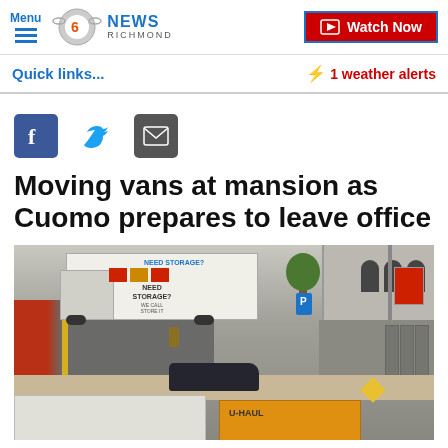Menu | CBS 6 News Richmond | Watch Now
Quick links...
⚡ 1 weather alerts
[Figure (other): Social share icons: Facebook, Twitter, Email]
Moving vans at mansion as Cuomo prepares to leave office
[Figure (photo): Aerial view of moving vans including a 'Need Storage?' truck and a U-Haul truck on a city street near a building, with a car and sidewalk visible]